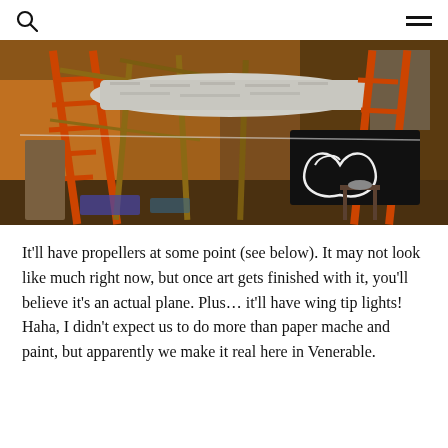[search icon] [menu icon]
[Figure (photo): Workshop interior showing a large paper mache airplane or aircraft model under construction, supported by orange ladders and wooden scaffolding. The space has warm orange lighting on the left and a black sign with white outline graphics on the right background.]
It'll have propellers at some point (see below). It may not look like much right now, but once art gets finished with it, you'll believe it's an actual plane. Plus… it'll have wing tip lights! Haha, I didn't expect us to do more than paper mache and paint, but apparently we make it real here in Venerable.